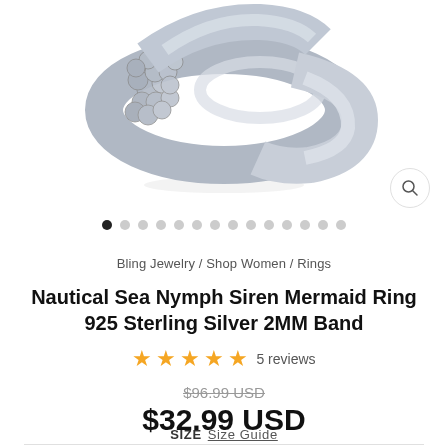[Figure (photo): Silver mermaid scale ring on white background — 925 sterling silver band with fish scale texture, cropped to show top portion of ring]
Bling Jewelry / Shop Women / Rings
Nautical Sea Nymph Siren Mermaid Ring 925 Sterling Silver 2MM Band
★★★★★ 5 reviews
$96.99 USD (strikethrough)
$32.99 USD
SIZE  Size Guide